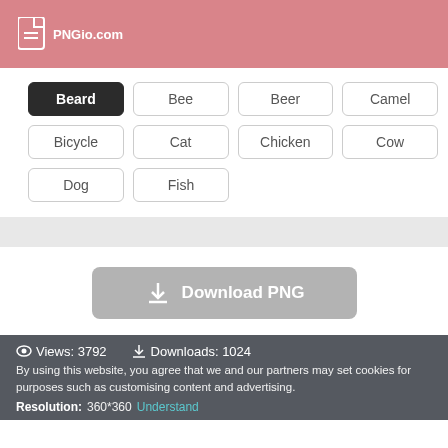PNGio.com
Beard
Bee
Beer
Camel
Bicycle
Cat
Chicken
Cow
Dog
Fish
Download PNG
Views: 3792   Downloads: 1024
By using this website, you agree that we and our partners may set cookies for purposes such as customising content and advertising.
Resolution: 360*360